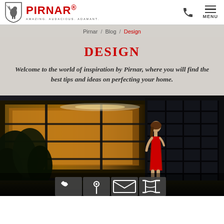PIRNAR. AMAZING. AUDACIOUS. ADAMANT.
Pirnar / Blog / Design
DESIGN
Welcome to the world of inspiration by Pirnar, where you will find the best tips and ideas on perfecting your home.
[Figure (photo): A woman in a red dress standing at the entrance of a modern luxury home with large glass doors and architectural facade at dusk.]